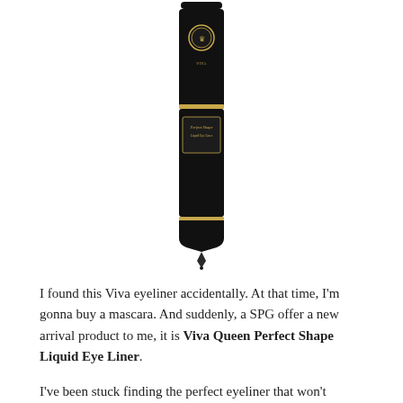[Figure (photo): A black liquid eyeliner bottle with gold accents and a pointed tip. The bottle is tall and narrow with a black cap. The label reads 'Viva Queen Perfect Shape Liquid Eye Liner' with a decorative gold emblem.]
I found this Viva eyeliner accidentally. At that time, I'm gonna buy a mascara. And suddenly, a SPG offer a new arrival product to me, it is Viva Queen Perfect Shape Liquid Eye Liner.
I've been stuck finding the perfect eyeliner that won't smudge, long-lasting, can be easily applied, and cheap (economical principal for college student. :P). I've been tried so many eyeliners, from cheap-local branded, until expensive-high branded, but it will always doesn't suit with my criteria. :(